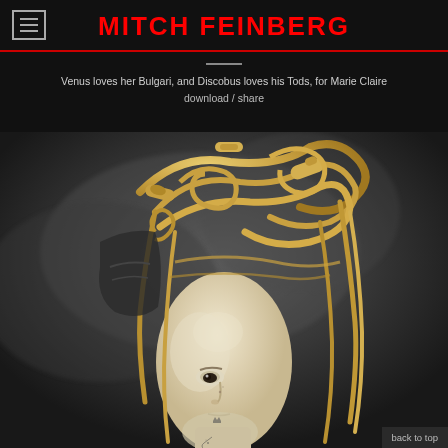MITCH FEINBERG
Venus loves her Bulgari, and Discobus loves his Tods, for Marie Claire
download / share
[Figure (photo): A classical marble bust of a male figure (Discobus/David-like) adorned with tangled gold leather straps and accessories cascading over the head, against a dark grey smoky background. A small crown tattoo is visible on the chest area. The face shows one visible eye gazing upward.]
back to top